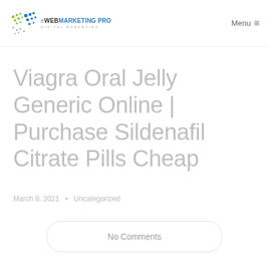eWEBMARKETING PRO DIGITAL MARKETING | Menu
Viagra Oral Jelly Generic Online | Purchase Sildenafil Citrate Pills Cheap
March 8, 2021   Uncategorized
No Comments